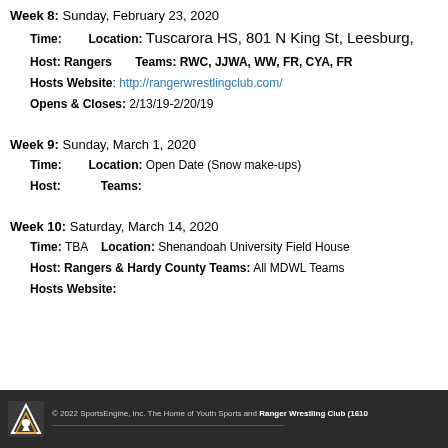Week 8: Sunday, February 23, 2020
Time:    Location: Tuscarora HS, 801 N King St, Leesburg,
Host: Rangers    Teams: RWC, JJWA, WW, FR, CYA, FR
Hosts Website: http://rangerwrestlingclub.com/
Opens & Closes: 2/13/19-2/20/19
Week 9: Sunday, March 1, 2020
Time:    Location: Open Date (Snow make-ups)
Host:    Teams:
Week 10: Saturday, March 14, 2020
Time: TBA    Location: Shenandoah University Field House
Host: Rangers & Hardy County Teams: All MDWL Teams
Hosts Website:
© 2022 SportsEngine, Inc. The Home of Youth Sports and Ranger Wrestling Club (1610